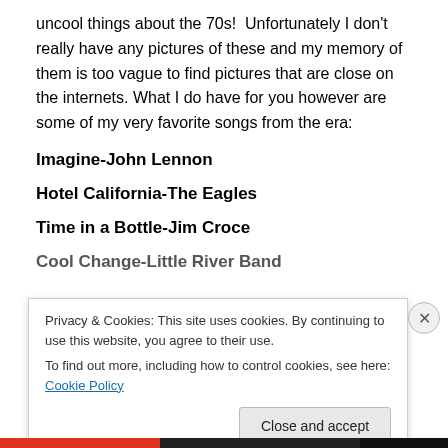uncool things about the 70s!  Unfortunately I don't really have any pictures of these and my memory of them is too vague to find pictures that are close on the internets. What I do have for you however are some of my very favorite songs from the era:
Imagine-John Lennon
Hotel California-The Eagles
Time in a Bottle-Jim Croce
Cool Change-Little River Band
Privacy & Cookies: This site uses cookies. By continuing to use this website, you agree to their use. To find out more, including how to control cookies, see here: Cookie Policy